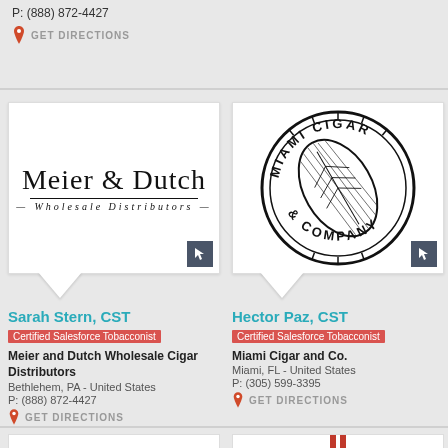P: (888) 872-4427
GET DIRECTIONS
[Figure (logo): Meier & Dutch Wholesale Distributors logo — serif text with decorative lines]
[Figure (logo): Miami Cigar & Company circular seal logo with cigar leaf illustration]
Sarah Stern, CST
Certified Salesforce Tobacconist
Meier and Dutch Wholesale Cigar Distributors
Bethlehem, PA - United States
P: (888) 872-4427
GET DIRECTIONS
Hector Paz, CST
Certified Salesforce Tobacconist
Miami Cigar and Co.
Miami, FL - United States
P: (305) 599-3395
GET DIRECTIONS